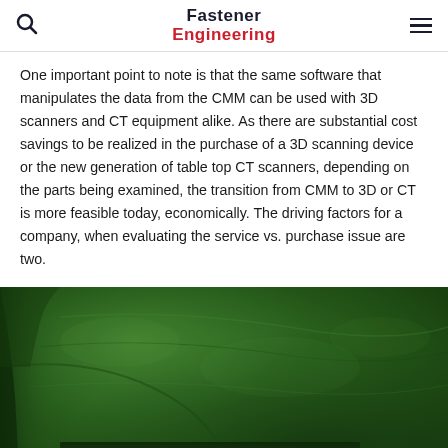Fastener Engineering
One important point to note is that the same software that manipulates the data from the CMM can be used with 3D scanners and CT equipment alike. As there are substantial cost savings to be realized in the purchase of a 3D scanning device or the new generation of table top CT scanners, depending on the parts being examined, the transition from CMM to 3D or CT is more feasible today, economically. The driving factors for a company, when evaluating the service vs. purchase issue are two.
[Figure (photo): A 3D scan or CT visualization of a fastener or mechanical part rendered in green, showing surface texture and internal geometry details against a dark green background.]